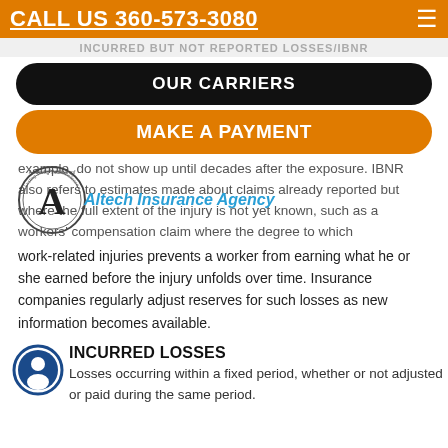CALL US 360-573-3080
INCURRED BUT NOT REPORTED LOSSES/IBNR
OUR CARRIERS
MAKE A PAYMENT
example, do not show up until decades after the exposure. IBNR also refers to estimates made about claims already reported but where the full extent of the injury is not yet known, such as a workers' compensation claim where the degree to which work-related injuries prevents a worker from earning what he or she earned before the injury unfolds over time. Insurance companies regularly adjust reserves for such losses as new information becomes available.
[Figure (logo): Altech Insurance Agency circular stamp logo with letter A and text 'Altech Insurance Agency' in blue]
INCURRED LOSSES
Losses occurring within a fixed period, whether or not adjusted or paid during the same period.